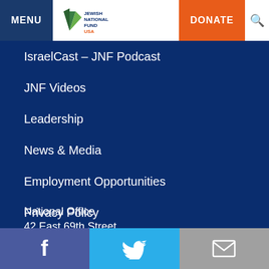MENU | Jewish National Fund USA | DONATE
IsraelCast – JNF Podcast
JNF Videos
Leadership
News & Media
Employment Opportunities
Privacy Policy
Contact Us
FAQs
Terms and Conditions
National Office
42 East 69th Street
Facebook | Twitter | Email